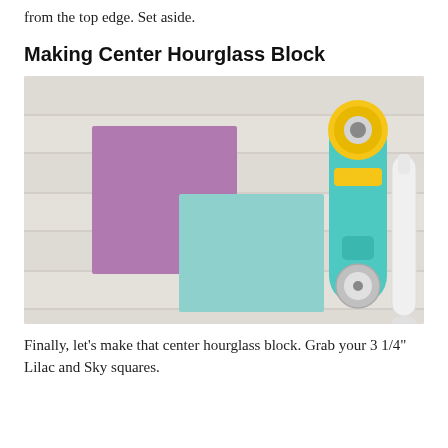from the top edge. Set aside.
Making Center Hourglass Block
[Figure (photo): Overhead photo on a white-painted wood surface showing a purple/lilac fabric square overlapping a light blue/sky fabric square, with a teal rotary cutter with yellow top and a white seam ripper tool on the right side.]
Finally, let’s make that center hourglass block. Grab your 3 1/4” Lilac and Sky squares.